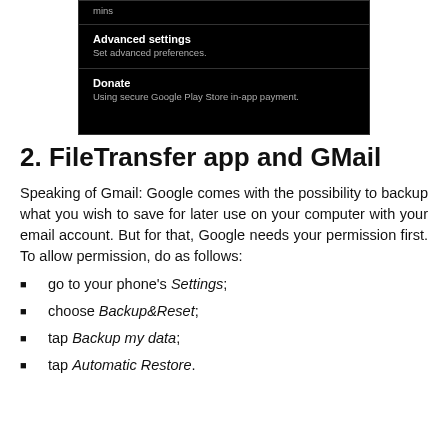[Figure (screenshot): Android app settings screen showing 'mins', 'Advanced settings' with subtitle 'Set advanced preferences.', and 'Donate' with subtitle 'Using secure Google Play Store in-app payment.' on a black background.]
2. FileTransfer app and GMail
Speaking of Gmail: Google comes with the possibility to backup what you wish to save for later use on your computer with your email account. But for that, Google needs your permission first. To allow permission, do as follows:
go to your phone's Settings;
choose Backup&Reset;
tap Backup my data;
tap Automatic Restore.